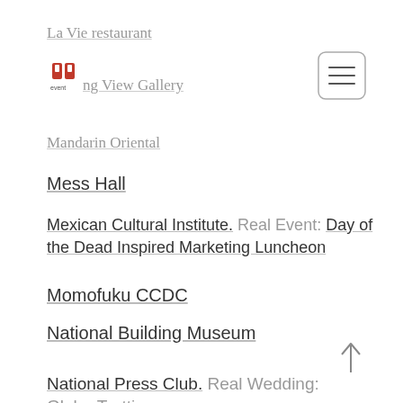[Figure (logo): Red stylized event logo icon]
[Figure (other): Hamburger menu button with three horizontal lines, rounded rectangle border]
La Vie restaurant
ng View Gallery
Mandarin Oriental
Mess Hall
Mexican Cultural Institute. Real Event: Day of the Dead Inspired Marketing Luncheon
Momofuku CCDC
National Building Museum
National Press Club. Real Wedding: Globe Trotting
[Figure (other): Up arrow / scroll-to-top button]